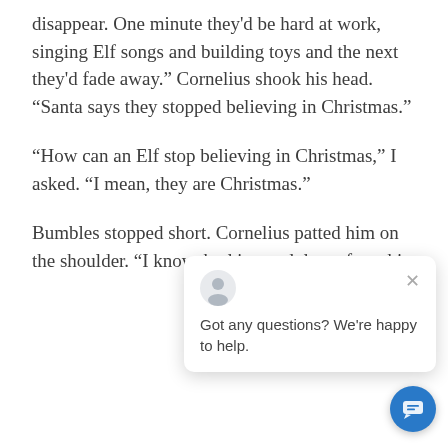disappear. One minute they'd be hard at work, singing Elf songs and building toys and the next they'd fade away." Cornelius shook his head. "Santa says they stopped believing in Christmas."
“How can an Elf stop believing in Christmas,” I asked. “I mean, they are Christmas.”
Bumbles stopped short. Cornelius patted him on the shoulder. “I know, bud… jumped down from hi…
[Figure (screenshot): Chat widget popup with user avatar icon, close X button, and message 'Got any questions? We're happy to help.' along with a circular blue chat button at bottom right.]